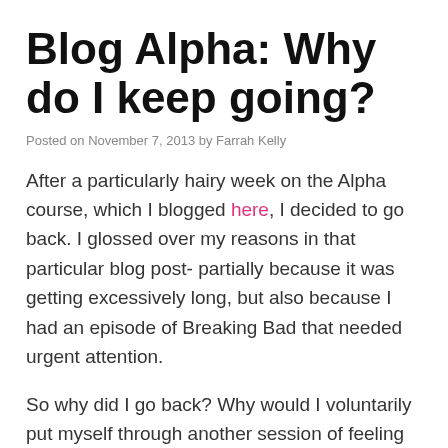Blog Alpha: Why do I keep going?
Posted on November 7, 2013 by Farrah Kelly
After a particularly hairy week on the Alpha course, which I blogged here, I decided to go back. I glossed over my reasons in that particular blog post- partially because it was getting excessively long, but also because I had an episode of Breaking Bad that needed urgent attention.
So why did I go back? Why would I voluntarily put myself through another session of feeling vaguely offended and wound up? This is evidently not a place for an achingly liberal atheist. The free food was surely not worth the